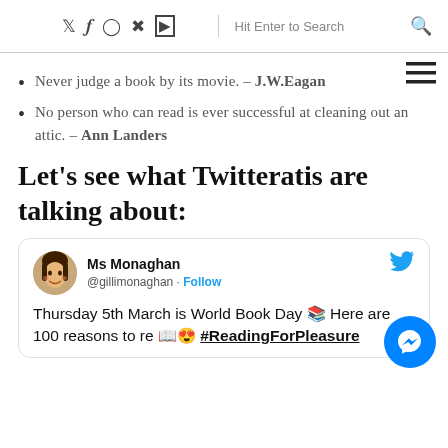Twitter Facebook Instagram Pinterest YouTube | Hit Enter to Search
Never judge a book by its movie. – J.W.Eagan
No person who can read is ever successful at cleaning out an attic. – Ann Landers
Let's see what Twitteratis are talking about:
[Figure (screenshot): Embedded tweet from Ms Monaghan (@gillimonaghan) with Follow button and Twitter bird icon. Tweet text: Thursday 5th March is World Book Day 📚 Here are 100 reasons to re 📖😍 #ReadingForPleasure]